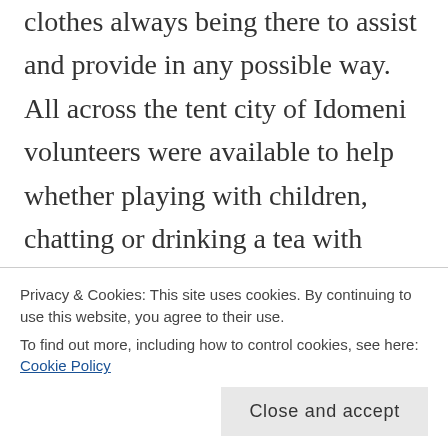clothes always being there to assist and provide in any possible way. All across the tent city of Idomeni volunteers were available to help whether playing with children, chatting or drinking a tea with adults, always smiling, always eager to do more, always open and friendly.
There were numerous of different volunteer teams that had been active in Idomeni , working with great efficiency and in perfect coordination
Privacy & Cookies: This site uses cookies. By continuing to use this website, you agree to their use.
To find out more, including how to control cookies, see here: Cookie Policy
Close and accept
the warehouse, collecting and supplying clothes